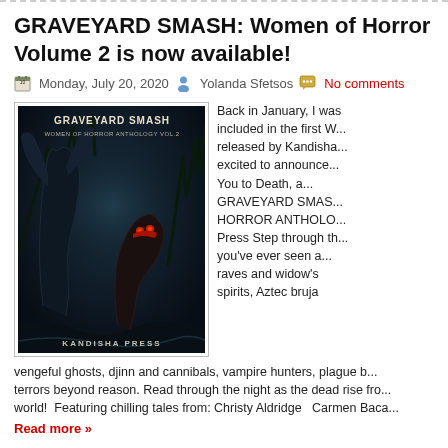GRAVEYARD SMASH: Women of Horror Volume 2 is now available!
Monday, July 20, 2020  Yolanda Sfetsos  No comments
[Figure (illustration): Book cover for GRAVEYARD SMASH Women of Horror Anthology Vol.2 by Kandisha Press, showing dark fantasy horror artwork with skeletal/monstrous figures in a dark forest setting.]
Back in January, I was included in the first W... released by Kandisha... excited to announce... You to Death, a... GRAVEYARD SMAS... HORROR ANTHOLO... Press Step through th... you've ever seen a... raves and widow's... spirits, Aztec bruja... vengeful ghosts, djinn and cannibals, vampire hunters, plague b... terrors beyond reason. Read through the night as the dead rise fro... world!  Featuring chilling tales from: Christy Aldridge  Carmen Baca...
Read more »